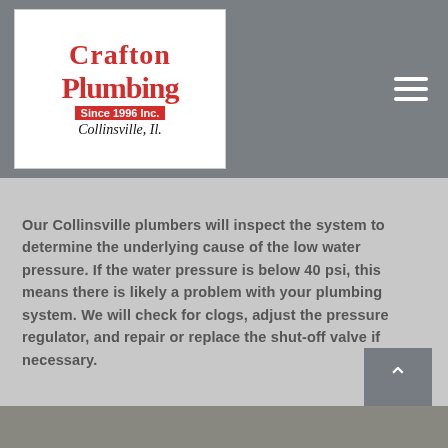[Figure (logo): Crafton Plumbing Inc. logo — red serif text 'Crafton' above 'Plumbing', with 'Since 1996 Inc.' banner and 'Collinsville, IL.' tagline in italic script, white background with plumbing tool illustrations]
Our Collinsville plumbers will inspect the system to determine the underlying cause of the low water pressure. If the water pressure is below 40 psi, this means there is likely a problem with your plumbing system. We will check for clogs, adjust the pressure regulator, and repair or replace the shut-off valve if necessary.
[Figure (photo): Partial bottom image strip, appears to be a photo of plumbing work or pipes]